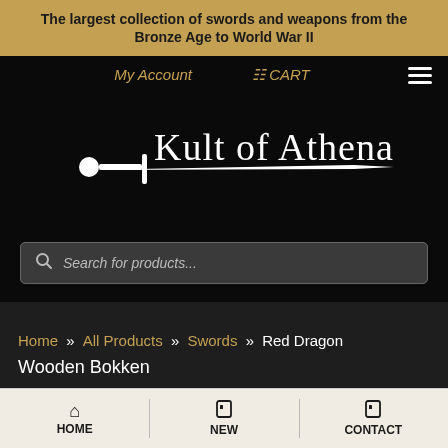The largest collection of swords and weapons from the Bronze Age to World War II
My Account   CART
[Figure (logo): Kult of Athena logo: white stylized text 'Kult of Athena' with a white sword graphic underneath, on black background]
Search for products...
Home » All Products » Swords » Red Dragon Wooden Bokken
HOME   NEW   CONTACT